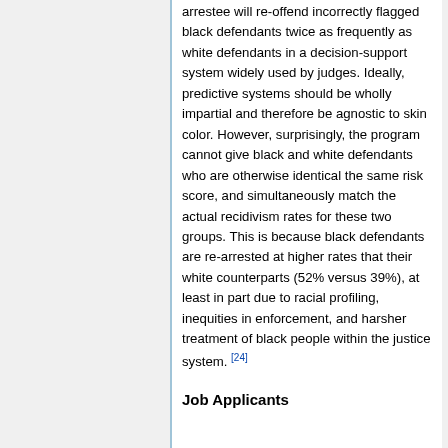arrestee will re-offend incorrectly flagged black defendants twice as frequently as white defendants in a decision-support system widely used by judges. Ideally, predictive systems should be wholly impartial and therefore be agnostic to skin color. However, surprisingly, the program cannot give black and white defendants who are otherwise identical the same risk score, and simultaneously match the actual recidivism rates for these two groups. This is because black defendants are re-arrested at higher rates that their white counterparts (52% versus 39%), at least in part due to racial profiling, inequities in enforcement, and harsher treatment of black people within the justice system. [24]
Job Applicants